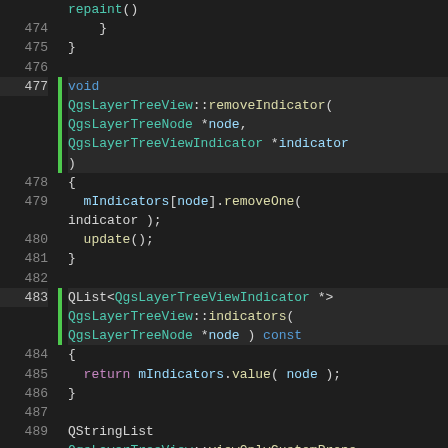[Figure (screenshot): Source code screenshot showing C++ implementation of QgsLayerTreeView methods including removeIndicator, indicators, viewOnlyCustomProperties, and refreshLayerSymbology. Dark theme code editor with line numbers 474-495+, green git diff markers, syntax highlighting in orange/teal/yellow.]